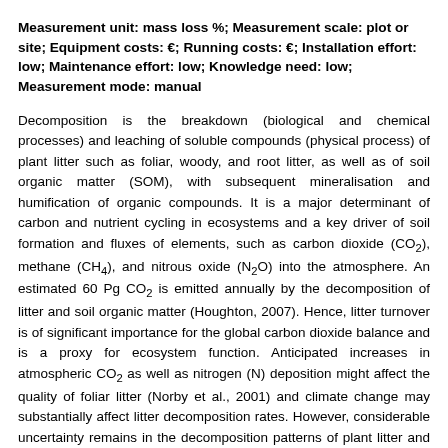Measurement unit: mass loss %; Measurement scale: plot or site; Equipment costs: €; Running costs: €; Installation effort: low; Maintenance effort: low; Knowledge need: low; Measurement mode: manual
Decomposition is the breakdown (biological and chemical processes) and leaching of soluble compounds (physical process) of plant litter such as foliar, woody, and root litter, as well as of soil organic matter (SOM), with subsequent mineralisation and humification of organic compounds. It is a major determinant of carbon and nutrient cycling in ecosystems and a key driver of soil formation and fluxes of elements, such as carbon dioxide (CO2), methane (CH4), and nitrous oxide (N2O) into the atmosphere. An estimated 60 Pg CO2 is emitted annually by the decomposition of litter and soil organic matter (Houghton, 2007). Hence, litter turnover is of significant importance for the global carbon dioxide balance and is a proxy for ecosystem function. Anticipated increases in atmospheric CO2 as well as nitrogen (N) deposition might affect the quality of foliar litter (Norby et al., 2001) and climate change may substantially affect litter decomposition rates. However, considerable uncertainty remains in the decomposition patterns of plant litter and thus